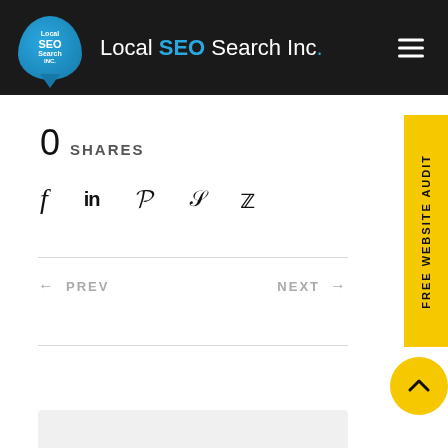[Figure (logo): Local SEO Search Inc. logo: blue location pin with company name and text brand mark on dark header]
0 SHARES
[Figure (infographic): Social share icons row: Facebook (f), LinkedIn (in), Pinterest (p), StumbleUpon, Twitter bird]
← PREV
NEXT →
[Figure (other): FREE WEBSITE AUDIT yellow vertical side tab on right edge]
[Figure (other): Yellow circle back-to-top button with up chevron]